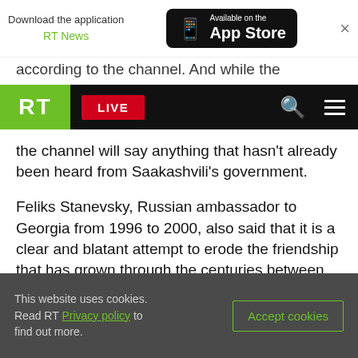Download the application RT News | Available on the App Store
according to the channel. And while the channel's
RT LIVE
the channel will say anything that hasn't already been heard from Saakashvili's government.
Feliks Stanevsky, Russian ambassador to Georgia from 1996 to 2000, also said that it is a clear and blatant attempt to erode the friendship that has grown through the centuries between the Russian and Georgian people.
“It’s out-and-out propaganda, no doubt about that,” Stanevsky said.  “It’s going to be an anti-Russian
This website uses cookies. Read RT Privacy policy to find out more. | Accept cookies